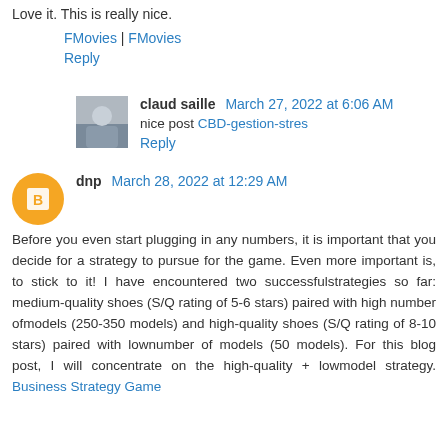Love it. This is really nice.
FMovies | FMovies
Reply
claud saille  March 27, 2022 at 6:06 AM
nice post CBD-gestion-stres
Reply
dnp  March 28, 2022 at 12:29 AM
Before you even start plugging in any numbers, it is important that you decide for a strategy to pursue for the game. Even more important is, to stick to it! I have encountered two successfulstrategies so far: medium-quality shoes (S/Q rating of 5-6 stars) paired with high number ofmodels (250-350 models) and high-quality shoes (S/Q rating of 8-10 stars) paired with lownumber of models (50 models). For this blog post, I will concentrate on the high-quality + lowmodel strategy. Business Strategy Game